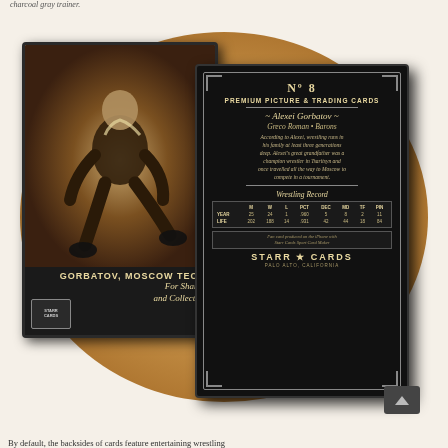charcoal gray trainer.
[Figure (photo): Two trading cards shown front and back. Front card shows wrestler Gorbatov in sepia tone in wrestling stance, labeled GORBATOV, MOSCOW TECH. with For Sharing and Collecting. Back card shows No 8 Premium Picture & Trading Cards, Alexei Gorbatov, Greco Roman Barons, with bio text, wrestling record table, and Starr Cards branding.]
By default, the backsides of cards feature entertaining wrestling